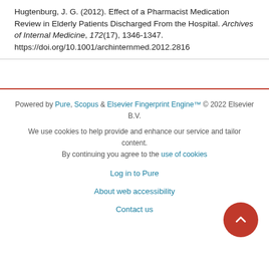Hugtenburg, J. G. (2012). Effect of a Pharmacist Medication Review in Elderly Patients Discharged From the Hospital. Archives of Internal Medicine, 172(17), 1346-1347. https://doi.org/10.1001/archinternmed.2012.2816
Powered by Pure, Scopus & Elsevier Fingerprint Engine™ © 2022 Elsevier B.V.
We use cookies to help provide and enhance our service and tailor content. By continuing you agree to the use of cookies
Log in to Pure
About web accessibility
Contact us